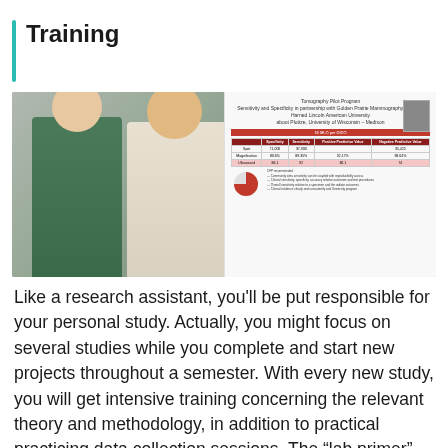Training
[Figure (photo): Two women standing together smiling in front of a research poster about Tomography Pilot Program, Sensitivity and Specificity in partnership with a Mammography Program.]
Like a research assistant, you'll be put responsible for your personal study. Actually, you might focus on several studies while you complete and start new projects throughout a semester. With every new study, you will get intensive training concerning the relevant theory and methodology, in addition to practical practicing data collection sessions. The “lab primer” offers a far more detailed description of this training.